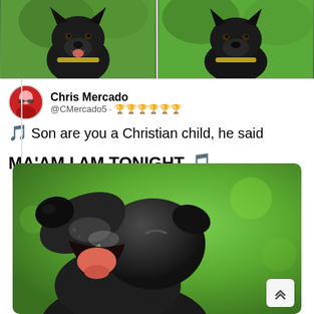[Figure (photo): Two dogs (appears to be Doberman or similar black dog) side by side in green outdoor background, top of the post]
Chris Mercado @CMercado5 · 🏆🏆🏆🏆🏆🏆
🎵 Son are you a Christian child, he said

MA'AM I AM TONIGHT 🎵
[Figure (photo): Close-up photo of a dark/black dog with mouth open, looking upward, with green background (howling or singing expression)]